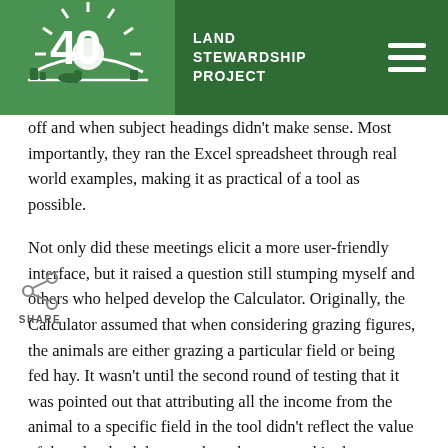Land Stewardship Project
off and when subject headings didn't make sense. Most importantly, they ran the Excel spreadsheet through real world examples, making it as practical of a tool as possible.
Not only did these meetings elicit a more user-friendly interface, but it raised a question still stumping myself and others who helped develop the Calculator. Originally, the Calculator assumed that when considering grazing figures, the animals are either grazing a particular field or being fed hay. It wasn't until the second round of testing that it was pointed out that attributing all the income from the animal to a specific field in the tool didn't reflect the value of the other land that may have been grazed in the same year.
During all the time we worked on this tool, we had never identified this specific issue. While sitting around a dining room table with frustrated faces trying to think of a suitable temporary solution, a farmer said to me, "I think you are the only person who